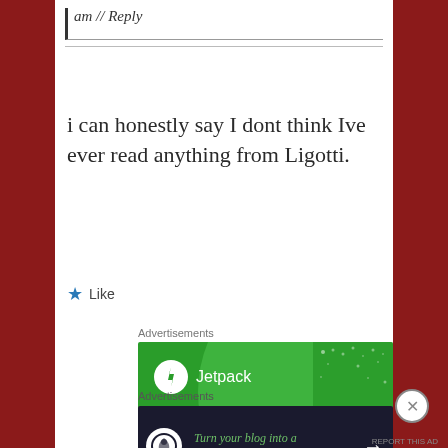am // Reply
i can honestly say I dont think Ive ever read anything from Ligotti.
★ Like
Advertisements
[Figure (illustration): Jetpack advertisement with green background showing a large translucent circle, Jetpack logo, and text 'We guard your WordPress site. You run your business.']
Advertisements
[Figure (illustration): Teachable advertisement with dark background showing text 'Turn your blog into a money-making online course.' with an arrow icon]